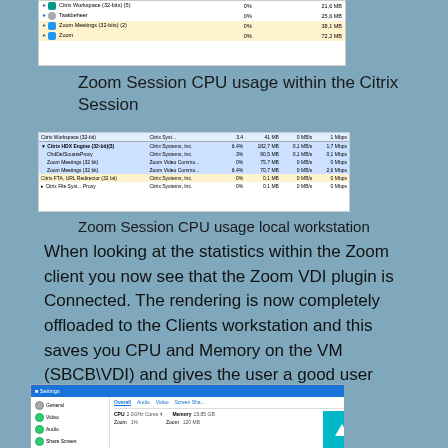[Figure (screenshot): Windows Task Manager screenshot showing Citrix Workspace (32-bits)(5), Taakbeheer, Zoom Meetings (32-bits)(2), and Zoom processes with 0% CPU and memory usage (21.6MB, 25.6MB, 38.1MB, 72.2MB). Some rows highlighted yellow.]
Zoom Session CPU usage within the Citrix Session
[Figure (screenshot): Windows Task Manager screenshot showing Citrix HDX Engine (32-bit)(3), ChdDeISouareProxy, Zoom Meetings (32-bit), Zoom Meetings (32-bit), Citrix FTA, URL Redirector (32 bit), Citrix file System Proxy - with CPU%, memory, MB/s columns. Some rows highlighted blue, some yellow.]
Zoom Session CPU usage local workstation
When looking at the statistics within the Zoom client you now see that the Zoom VDI plugin is Connected. The rendering is now completely offloaded to the Clients workstation and this saves you CPU and Memory on the VM (SBCB\VDI) and gives the user a good user experience during the call.
[Figure (screenshot): Zoom Settings window showing left panel with General, Video, Audio, Share Screen options; right panel with Overall, Audio, Video, Screen Share tabs. Stats show CPU: 2.0GHz Cores 4, Memory: 15.85 GB, Zoom 1%, Zoom 120 MB.]